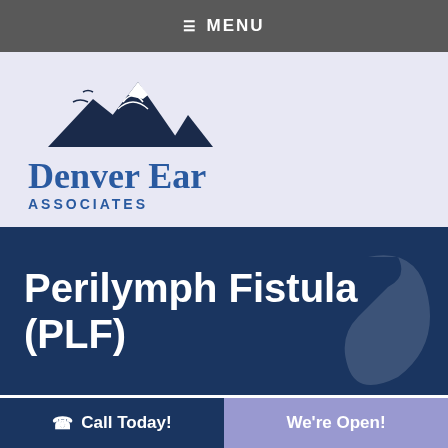☰ MENU
[Figure (logo): Denver Ear Associates logo with mountain peak illustration and text 'Denver Ear ASSOCIATES']
Perilymph Fistula (PLF)
A perilymph fistula is an opening or defect in one
☎ Call Today! | We're Open!